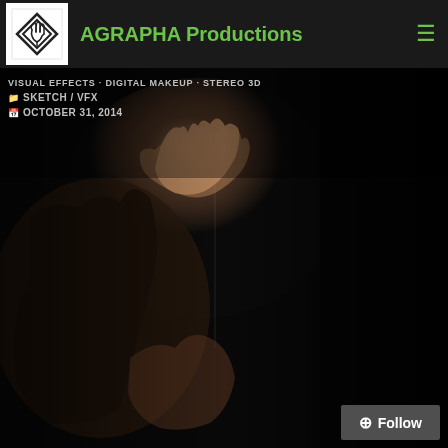AGRAPHA Productions
VISUAL EFFECTS · DIGITAL MAKEUP · STEREO 3D
SKETCH / VFX
OCTOBER 31, 2014
[Figure (photo): Dark cinematic image of a monstrous creature hand pressing against a face, shown with digital makeup / VFX, dark background with dramatic lighting]
Follow